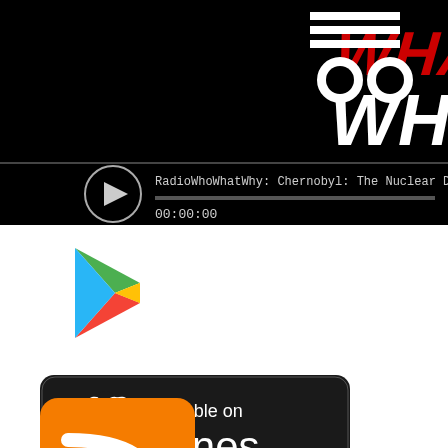[Figure (screenshot): Podcast player embed showing RadioWhoWhatWhy: Chernobyl: The Nuclear Disaster That Helped Destroy a R... with play button and timestamp 00:00:00, on black background with WHO WHAT WHY logo]
[Figure (logo): Google Play Store colorful triangle logo]
[Figure (logo): Available on iTunes badge with Apple logo on dark rounded rectangle background]
[Figure (logo): RSS feed orange icon, partially visible at bottom]